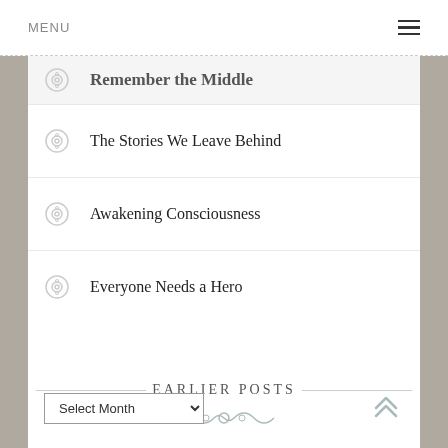MENU
Remember the Middle
The Stories We Leave Behind
Awakening Consciousness
Everyone Needs a Hero
EARLIER POSTS
Select Month